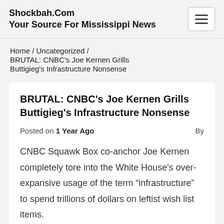Shockbah.Com
Your Source For Mississippi News
Home / Uncategorized / BRUTAL: CNBC's Joe Kernen Grills Buttigieg's Infrastructure Nonsense
BRUTAL: CNBC's Joe Kernen Grills Buttigieg's Infrastructure Nonsense
Posted on 1 Year Ago By
CNBC Squawk Box co-anchor Joe Kernen completely tore into the White House's over-expansive usage of the term “infrastructure” to spend trillions of dollars on leftist wish list items.